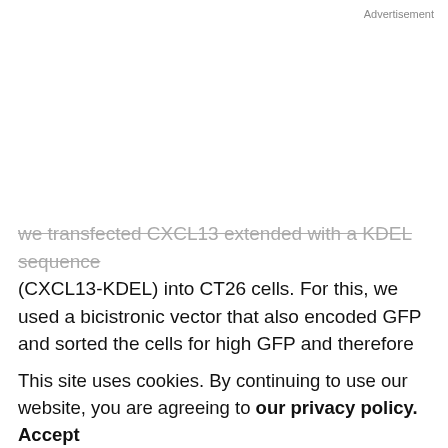Advertisement
we transfected CXCL13 extended with a KDEL sequence (CXCL13-KDEL) into CT26 cells. For this, we used a bicistronic vector that also encoded GFP and sorted the cells for high GFP and therefore high CXCL13-KDEL levels. The cells were injected into the spleen and isolated from the resulting spleen tumors. The up-regulation of CXCR5 in the CT26-CXCL13-KDEL cells was almost completely prevented (Fig. 5A), showing that the intrakine
approach was effective. The levels of (mouse) CXCR5 mRNA are low in vitro in all CT26 cell lines. In vivo but are strongly induced in vivo as also shown in Fig. 5A. Mouse CXCR5 mRNA is also up-regulated in CXCR5-
This site uses cookies. By continuing to use our website, you are agreeing to our privacy policy.
Accept